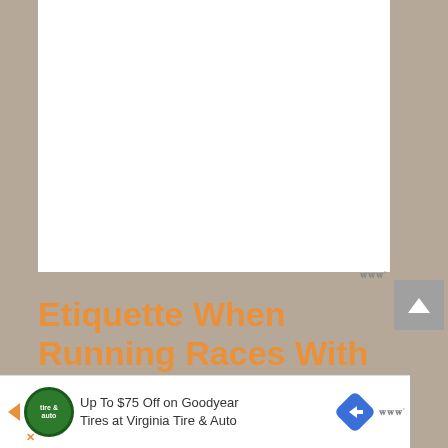[Figure (other): White blank/placeholder area at top of the page, likely an advertisement or image placeholder]
Etiquette When Running Races With Dogs
General requirements
[Figure (other): Advertisement banner: 'Up To $75 Off on Goodyear Tires at Virginia Tire & Auto' with Tire & Auto logo circle and navigation arrow icon]